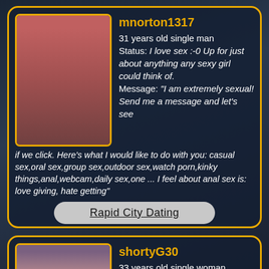[Figure (photo): Profile photo of mnorton1317, shirtless man]
mnorton1317
31 years old single man
Status: I love sex :-0 Up for just about anything any sexy girl could think of.
Message: "I am extremely sexual! Send me a message and let's see if we click. Here's what I would like to do with you: casual sex,oral sex,group sex,outdoor sex,watch porn,kinky things,anal,webcam,daily sex,one ... I feel about anal sex is: love giving, hate getting"
Rapid City Dating
[Figure (photo): Profile photo of shortyG30, young woman]
shortyG30
33 years old single woman seeking men
Status: I love sex!
Message: "I am extremely sexual!